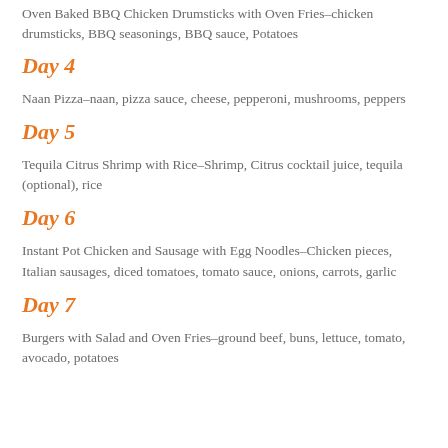Oven Baked BBQ Chicken Drumsticks with Oven Fries–chicken drumsticks, BBQ seasonings, BBQ sauce, Potatoes
Day 4
Naan Pizza–naan, pizza sauce, cheese, pepperoni, mushrooms, peppers
Day 5
Tequila Citrus Shrimp with Rice–Shrimp, Citrus cocktail juice, tequila (optional), rice
Day 6
Instant Pot Chicken and Sausage with Egg Noodles–Chicken pieces, Italian sausages, diced tomatoes, tomato sauce, onions, carrots, garlic
Day 7
Burgers with Salad and Oven Fries–ground beef, buns, lettuce, tomato, avocado, potatoes